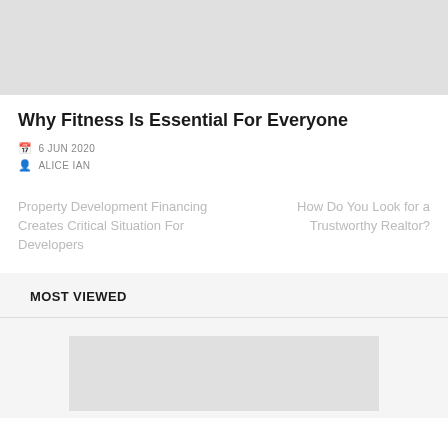[Figure (photo): Gray placeholder image at the top of the page]
Why Fitness Is Essential For Everyone
6 JUN 2020
ALICE IAN
Property Development Financing Creates Critical Situation For Developers
How Do You Look for a Trustworthy Realtor?
MOST VIEWED
[Figure (photo): Gray placeholder thumbnail image in Most Viewed section]